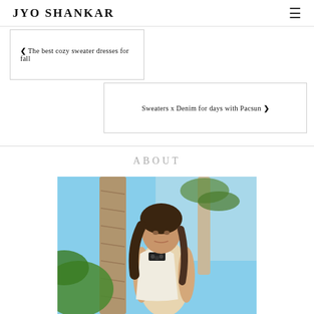JYO SHANKAR
❮ The best cozy sweater dresses for fall
Sweaters x Denim for days with Pacsun ❯
ABOUT
[Figure (photo): Young woman in white crochet halter top with statement necklace, leaning against a palm tree with tropical greenery and blue sky in background]